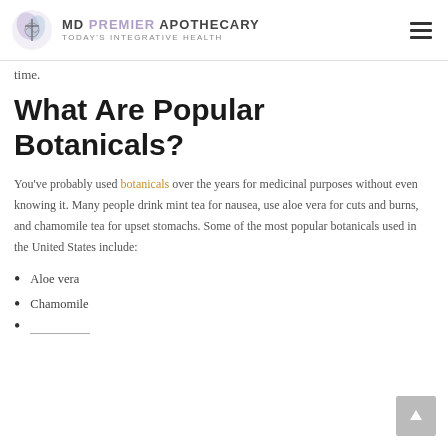MD PREMIER APOTHECARY — TODAY'S INTEGRATIVE HEALTH
time.
What Are Popular Botanicals?
You've probably used botanicals over the years for medicinal purposes without even knowing it. Many people drink mint tea for nausea, use aloe vera for cuts and burns, and chamomile tea for upset stomachs. Some of the most popular botanicals used in the United States include:
Aloe vera
Chamomile
Echinacea